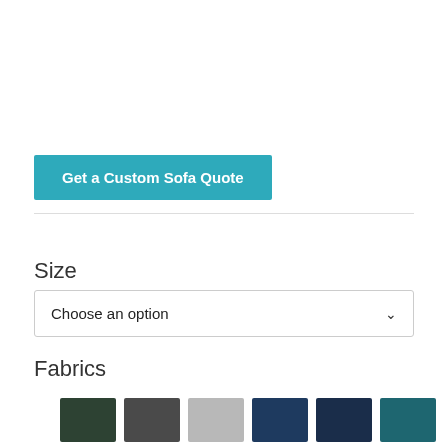Get a Custom Sofa Quote
Size
Choose an option
Fabrics
[Figure (other): Six fabric color swatches: dark green, dark gray, light gray, navy blue, dark navy, teal]